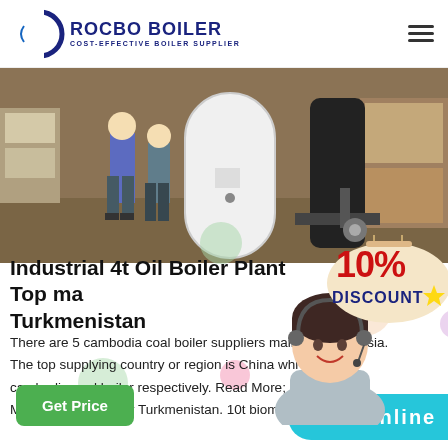ROCBO BOILER — COST-EFFECTIVE BOILER SUPPLIER
[Figure (photo): Industrial boiler warehouse scene showing large white cylindrical boiler being moved by workers with a pallet jack]
[Figure (infographic): 10% DISCOUNT promotional badge in red and tan colors]
Industrial 4t Oil Boiler Plant Top ma Turkmenistan
There are 5 cambodia coal boiler suppliers mainly lo Asia. The top supplying country or region is China whi cambodia coal boiler respectively. Read More; U Manufacturers Boiler Turkmenistan. 10t biomass
[Figure (photo): Customer service representative with headset smiling]
Get Price
7X24 Online